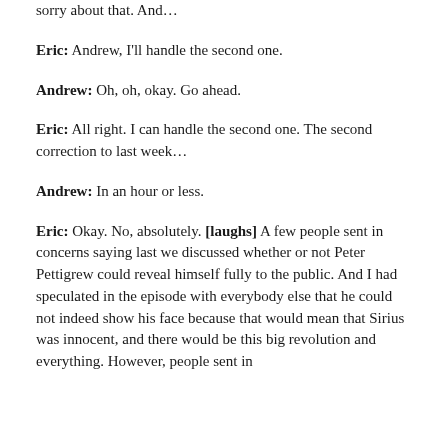sorry about that. And...
Eric: Andrew, I'll handle the second one.
Andrew: Oh, oh, okay. Go ahead.
Eric: All right. I can handle the second one. The second correction to last week…
Andrew: In an hour or less.
Eric: Okay. No, absolutely. [laughs] A few people sent in concerns saying last we discussed whether or not Peter Pettigrew could reveal himself fully to the public. And I had speculated in the episode with everybody else that he could not indeed show his face because that would mean that Sirius was innocent, and there would be this big revolution and everything. However, people sent in